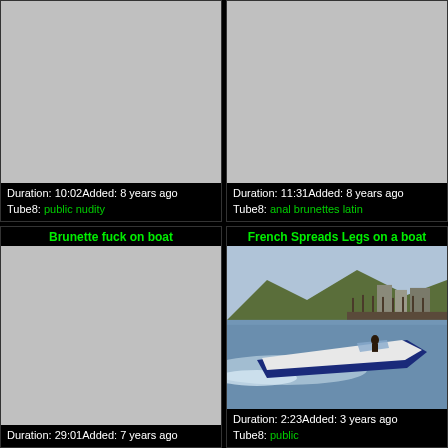[Figure (screenshot): Video thumbnail placeholder (grey) for first video, top-left cell]
Duration: 10:02Added: 8 years ago
Tube8: public nudity
[Figure (screenshot): Video thumbnail placeholder (grey) for second video, top-right cell]
Duration: 11:31Added: 8 years ago
Tube8: anal brunettes latin
Brunette fuck on boat
[Figure (screenshot): Video thumbnail placeholder (grey) for third video, bottom-left cell]
Duration: 29:01Added: 7 years ago
French Spreads Legs on a boat
[Figure (photo): Photo of a speedboat on water with buildings/dock in background]
Duration: 2:23Added: 3 years ago
Tube8: public